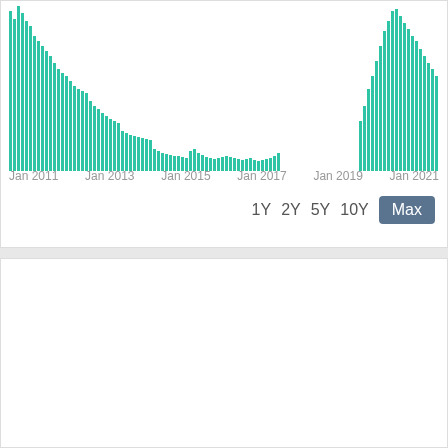[Figure (bar-chart): Historical volume bar chart (Max view)]
1Y  2Y  5Y  10Y  Max